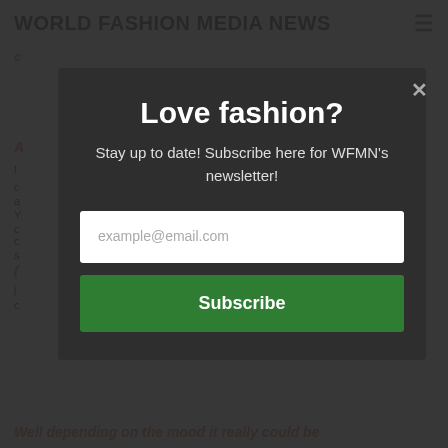WORLD FASHION MEDIA NEWS
[Figure (screenshot): Newsletter subscription modal popup overlay on the World Fashion Media News website. The modal has a dark background with the headline 'Love fashion?', subtitle 'Stay up to date! Subscribe here for WFMN’s newsletter!', an email input field with placeholder 'example@email.com', and a green 'Subscribe' button. A close (x) button appears in the top right of the modal.]
Well depending on the mood it really could be